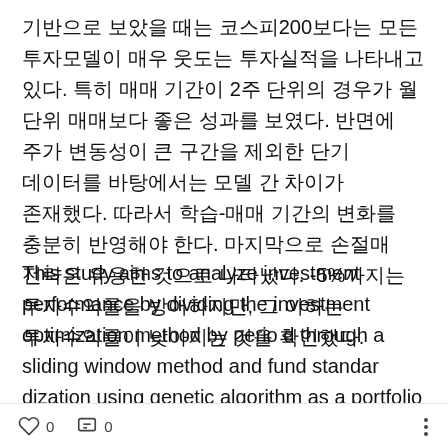기반으로 보았을 때는 코스피200보다는 모든 투자모델이 매우 웃도는 투자실적을 나타내고 있다. 특히 매매 기간이 2주 단위의 경우가 월 단위 매매보다 좋은 성과를 보였다. 반면에 주가 변동성이 큰 구간을 제외한 단기 데이터를 바탕에서는 모델 간 차이가 존재했다. 따라서 학습-매매 기간의 변화를 충분히 반영해야 한다. 마지막으로 손절매 전략은 유용한 것으로 나타났다. -5%까지는 투자수익률을 방어하지만, 그 이하는 투자수익률이 낮아지는 것을 확인했다.
This study aims to analyze investment performance by dividing the investment optimization method by period through a sliding window method and fund standardization using genetic algorithm as a portfolio optimization method. The research results of the empirical an
0   0